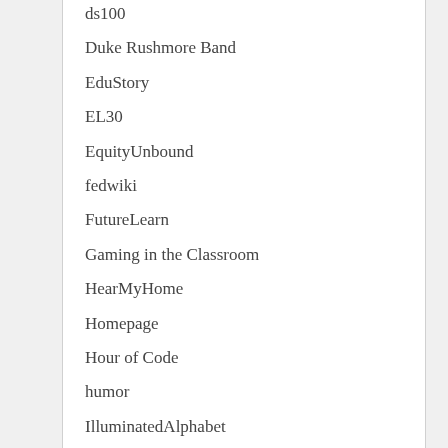ds100
Duke Rushmore Band
EduStory
EL30
EquityUnbound
fedwiki
FutureLearn
Gaming in the Classroom
HearMyHome
Homepage
Hour of Code
humor
IlluminatedAlphabet
Innovator Mindset MOOC
Inquiry Question
Instructify